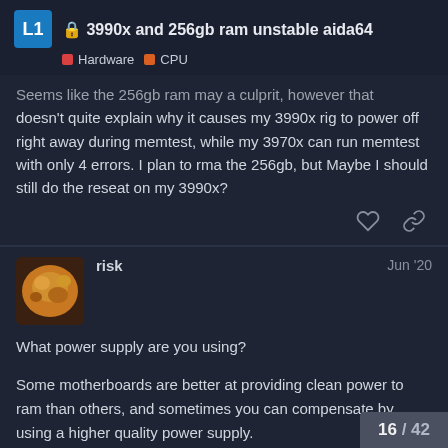🔒 3990x and 256gb ram unstable aida64 | Hardware | CPU
Seems like the 256gb ram may a culprit, however that doesn't quite explain why it causes my 3990x rig to power off right away during memtest, while my 3970x can run memtest with only 4 errors. I plan to rma the 256gb, but Maybe I should still do the reseat on my 3990x?
risk  Jun '20
What power supply are you using?

Some motherboards are better at providing clean power to ram than others, and sometimes you can compensate by using a higher quality power supply.
16 / 42